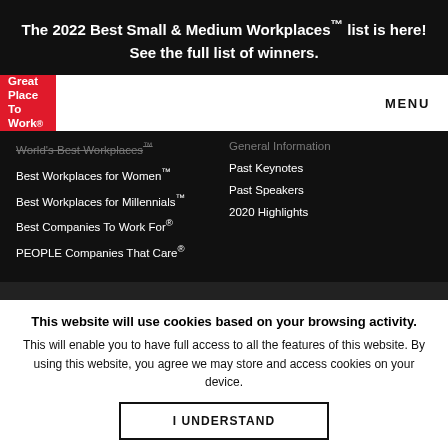The 2022 Best Small & Medium Workplaces™ list is here!
See the full list of winners.
[Figure (logo): Great Place To Work logo — white text on red background]
MENU
World's Best Workplaces™
Best Workplaces for Women™
Best Workplaces for Millennials™
Best Companies To Work For®
PEOPLE Companies That Care®
General Information
Past Keynotes
Past Speakers
2020 Highlights
This website will use cookies based on your browsing activity.
This will enable you to have full access to all the features of this website. By using this website, you agree we may store and access cookies on your device.
I UNDERSTAND